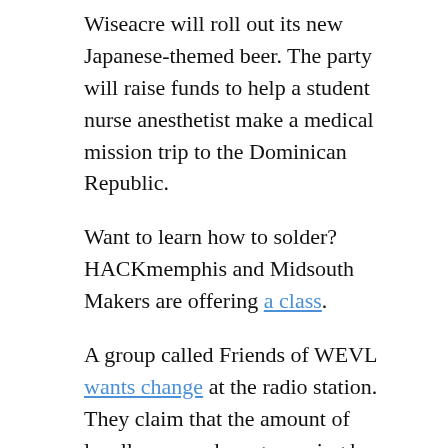Wiseacre will roll out its new Japanese-themed beer. The party will raise funds to help a student nurse anesthetist make a medical mission trip to the Dominican Republic.
Want to learn how to solder? HACKmemphis and Midsouth Makers are offering a class.
A group called Friends of WEVL wants change at the radio station. They claim that the amount of locally-sourced programming has decreased at WEVL in favor of more syndicated shows. They also note that of the local programmers the station does have, there is a lack of diversity, with only one of 42 being African-American.